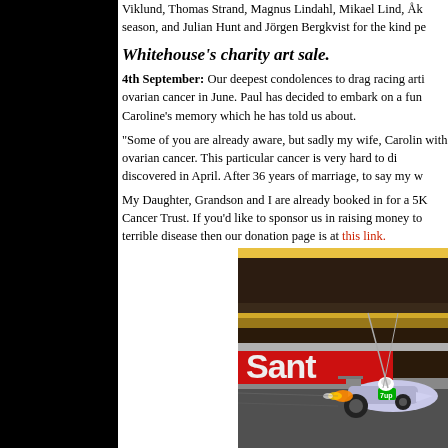Viklund, Thomas Strand, Magnus Lindahl, Mikael Lind, Åk season, and Julian Hunt and Jörgen Bergkvist for the kind pe
Whitehouse's charity art sale.
4th September: Our deepest condolences to drag racing arti ovarian cancer in June. Paul has decided to embark on a fun Caroline's memory which he has told us about.
"Some of you are already aware, but sadly my wife, Carolin with ovarian cancer. This particular cancer is very hard to di discovered in April. After 36 years of marriage, to say my w
My Daughter, Grandson and I are already booked in for a 5K Cancer Trust. If you'd like to sponsor us in raising money to terrible disease then our donation page is at this link.
[Figure (photo): Painting of a drag racing car with 'Santa' banner and crowd in background, in vivid colors.]